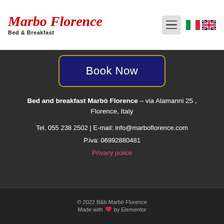[Figure (logo): Marbo Florence Bed & Breakfast logo with red italic script and subtitle]
Book Now
Bed and breakfast Marbò Florence – via Alamanni 25 , Florence,  Italy
Tel. 055 238 2502 | E-mail: info@marboflorence.com
P.iva: 06992880481
Privacy police
© 2022 B&b Marbò Florence
Made with ♥ by Elementor